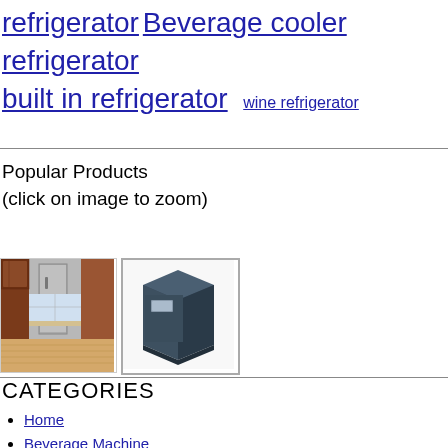refrigerator Beverage cooler refrigerator built in refrigerator wine refrigerator
Popular Products
(click on image to zoom)
[Figure (photo): Photo of a kitchen with built-in refrigerator, wooden cabinets and drawers]
[Figure (photo): Photo of a dark grey/navy compact cube-shaped refrigerator unit on a light background]
CATEGORIES
Home
Beverage Machine